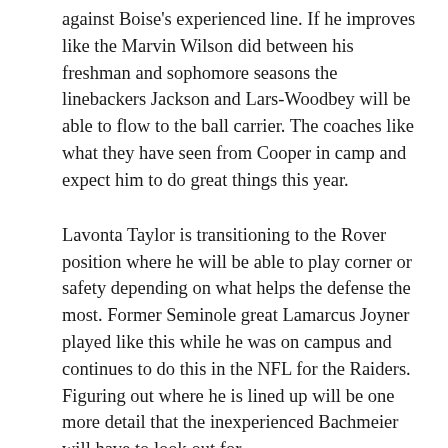against Boise's experienced line. If he improves like the Marvin Wilson did between his freshman and sophomore seasons the linebackers Jackson and Lars-Woodbey will be able to flow to the ball carrier. The coaches like what they have seen from Cooper in camp and expect him to do great things this year.
Lavonta Taylor is transitioning to the Rover position where he will be able to play corner or safety depending on what helps the defense the most. Former Seminole great Lamarcus Joyner played like this while he was on campus and continues to do this in the NFL for the Raiders. Figuring out where he is lined up will be one more detail that the inexperienced Bachmeier will have to look out for.
The Seminole defense struggled on third down and long last year due to the lack of a pass rush and breakdowns in the secondary. That trend may continue if the outside linebackers are unable to put pressure on Bachmeier. The